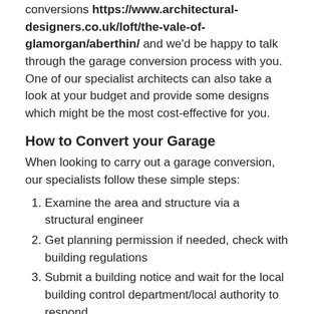conversions https://www.architectural-designers.co.uk/loft/the-vale-of-glamorgan/aberthin/ and we'd be happy to talk through the garage conversion process with you. One of our specialist architects can also take a look at your budget and provide some designs which might be the most cost-effective for you.
How to Convert your Garage
When looking to carry out a garage conversion, our specialists follow these simple steps:
Examine the area and structure via a structural engineer
Get planning permission if needed, check with building regulations
Submit a building notice and wait for the local building control department/local authority to respond
Design the garage to suit you.
Build the structure.
Decorate and design the garage to suit you.
As garage conversion specialists, we have years of experience and expert knowledge so can carry out the ideal garage conversion to